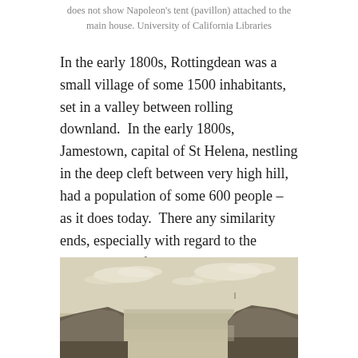does not show Napoleon's tent (pavillon) attached to the main house. University of California Libraries
In the early 1800s, Rottingdean was a small village of some 1500 inhabitants, set in a valley between rolling downland.  In the early 1800s, Jamestown, capital of St Helena, nestling in the deep cleft between very high hill, had a population of some 600 people – as it does today.  There any similarity ends, especially with regard to the composition of the population.
[Figure (illustration): Historical engraving or etching showing a coastal or landscape scene with rocky cliffs/hills on either side, a body of water or open space in the middle, and dramatic cloudy sky above.]